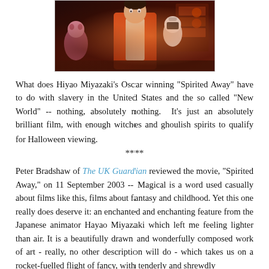[Figure (illustration): A still from Spirited Away anime film showing a character in orange/red clothing with dark fantasy background elements]
What does Hiyao Miyazaki's Oscar winning "Spirited Away" have to do with slavery in the United States and the so called "New World" -- nothing, absolutely nothing. It's just an absolutely brilliant film, with enough witches and ghoulish spirits to qualify for Halloween viewing.
****
Peter Bradshaw of The UK Guardian reviewed the movie, "Spirited Away," on 11 September 2003 -- Magical is a word used casually about films like this, films about fantasy and childhood. Yet this one really does deserve it: an enchanted and enchanting feature from the Japanese animator Hayao Miyazaki which left me feeling lighter than air. It is a beautifully drawn and wonderfully composed work of art - really, no other description will do - which takes us on a rocket-fuelled flight of fancy, with tenderly and shrewdly